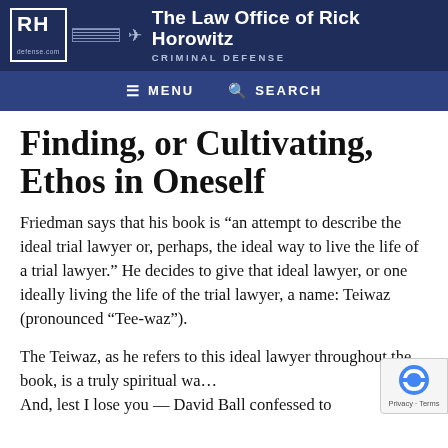The Law Office of Rick Horowitz — CRIMINAL DEFENSE — defense.com
Finding, or Cultivating, Ethos in Oneself
Friedman says that his book is “an attempt to describe the ideal trial lawyer or, perhaps, the ideal way to live the life of a trial lawyer.” He decides to give that ideal lawyer, or one ideally living the life of the trial lawyer, a name: Teiwaz (pronounced “Tee-waz”).
The Teiwaz, as he refers to this ideal lawyer throughout the book, is a truly spiritual wa… And, lest I lose you — David Ball confessed to…